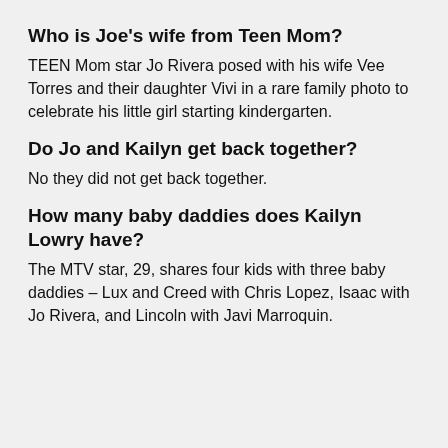Who is Joe's wife from Teen Mom?
TEEN Mom star Jo Rivera posed with his wife Vee Torres and their daughter Vivi in a rare family photo to celebrate his little girl starting kindergarten.
Do Jo and Kailyn get back together?
No they did not get back together.
How many baby daddies does Kailyn Lowry have?
The MTV star, 29, shares four kids with three baby daddies – Lux and Creed with Chris Lopez, Isaac with Jo Rivera, and Lincoln with Javi Marroquin.